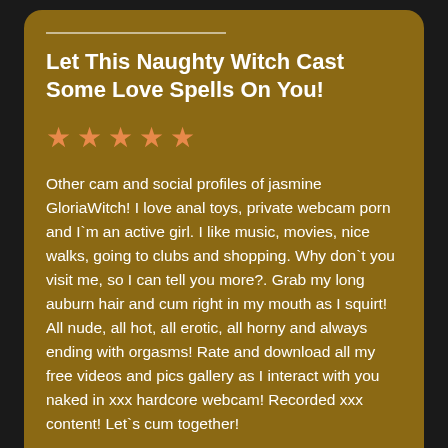Let This Naughty Witch Cast Some Love Spells On You!
[Figure (other): Five orange star rating icons]
Other cam and social profiles of jasmine GloriaWitch! I love anal toys, private webcam porn and I`m an active girl. I like music, movies, nice walks, going to clubs and shopping. Why don`t you visit me, so I can tell you more?. Grab my long auburn hair and cum right in my mouth as I squirt! All nude, all hot, all erotic, all horny and always ending with orgasms! Rate and download all my free videos and pics gallery as I interact with you naked in xxx hardcore webcam! Recorded xxx content! Let`s cum together!
GloriaWitch Porn Profile